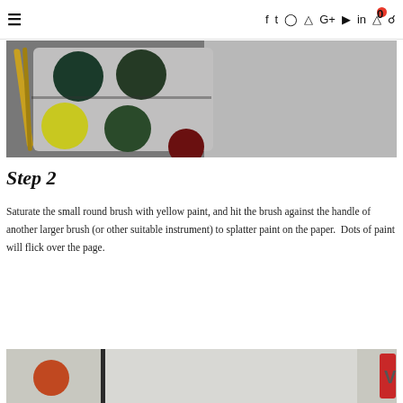≡ f twitter instagram pinterest G+ youtube in cart(0) search
[Figure (photo): A watercolor paint palette with multiple paint colors (dark green, yellow-green, dark red) and two paint brushes resting beside it, viewed from above.]
Step 2
Saturate the small round brush with yellow paint, and hit the brush against the handle of another larger brush (or other suitable instrument) to splatter paint on the paper. Dots of paint will flick over the page.
[Figure (photo): Partial view of a watercolor painting step in progress showing an orange/red paint dot on paper with painting tools visible.]